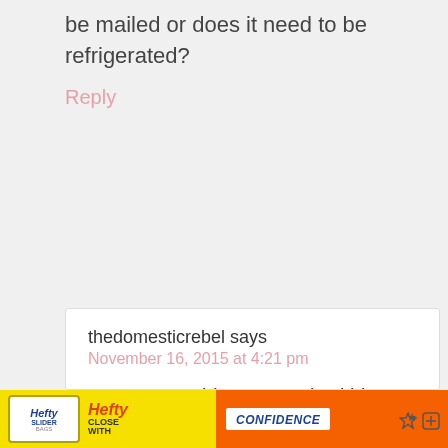be mailed or does it need to be refrigerated?
Reply
thedomesticrebel says
November 16, 2015 at 4:21 pm
Nancy, I would consume it within 1 day, so I don't think it'd be great to mail unfortunately. Sorry about that! You could always order some
[Figure (screenshot): Advertisement banner for Hefty Slider bags with 'Close With Confidence' slogan]